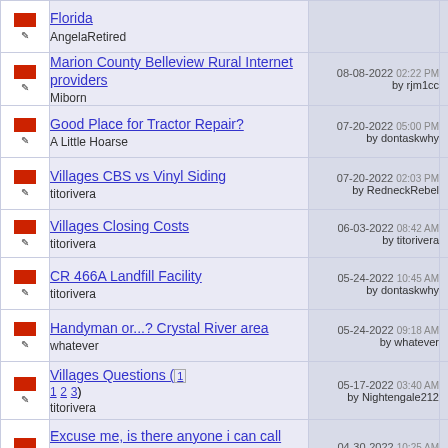|  | Topic | Last Post | Replies |
| --- | --- | --- | --- |
|  | Florida
AngelaRetired |  |  |
|  | Marion County Belleview Rural Internet providers
Miborn | 08-08-2022 02:22 PM by rjm1cc | 2 |
|  | Good Place for Tractor Repair?
A Little Hoarse | 07-20-2022 05:00 PM by dontaskwhy | 1 |
|  | Villages CBS vs Vinyl Siding
titorivera | 07-20-2022 02:03 PM by RedneckRebel | 9 |
|  | Villages Closing Costs
titorivera | 06-03-2022 08:42 AM by titorivera | 8 |
|  | CR 466A Landfill Facility
titorivera | 05-24-2022 10:45 AM by dontaskwhy | 1 |
|  | Handyman or...? Crystal River area
whatever | 05-24-2022 09:18 AM by whatever | 8 |
|  | Villages Questions ( 1 2 3 )
titorivera | 05-17-2022 03:40 AM by Nightengale212 | 23 |
|  | Excuse me, is there anyone i can call about this?
pinnythequeen | 04-30-2022 10:25 AM by Gerania | 4 |